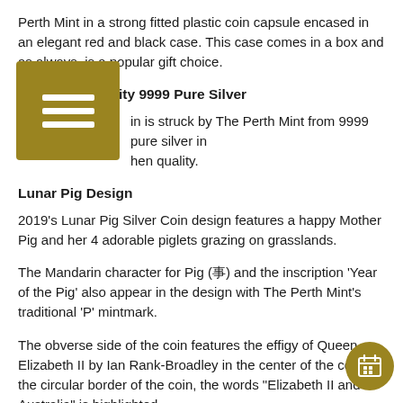Perth Mint in a strong fitted plastic coin capsule encased in an elegant red and black case. This case comes in a box and as always, is a popular gift choice.
Specimen Quality 9999 Pure Silver
in is struck by The Perth Mint from 9999 pure silver in hen quality.
Lunar Pig Design
2019's Lunar Pig Silver Coin design features a happy Mother Pig and her 4 adorable piglets grazing on grasslands.
The Mandarin character for Pig (亥) and the inscription 'Year of the Pig' also appear in the design with The Perth Mint's traditional 'P' mintmark.
The obverse side of the coin features the effigy of Queen Elizabeth II by Ian Rank-Broadley in the center of the coin. In the circular border of the coin, the words "Elizabeth II and Australia" is highlighted.
At the bottom of the coin, the legal tender value of the 1 troy